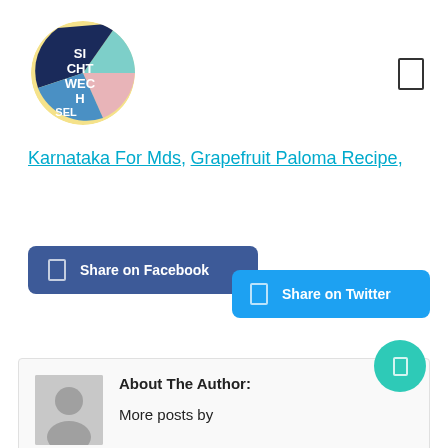[Figure (logo): Sichtwechsel circular logo with colored segments and white text reading SI CHT WECH SEL]
Karnataka For Mds, Grapefruit Paloma Recipe,
Share on Facebook
Share on Twitter
About The Author:
More posts by